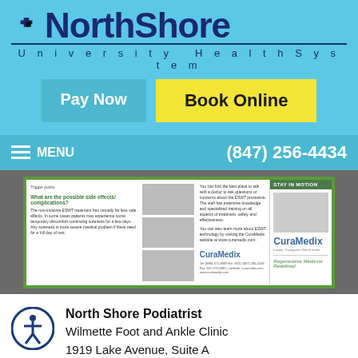[Figure (logo): NorthShore University HealthSystem logo with blue cross symbol and text]
[Figure (screenshot): Pay Now and Book Online buttons on light blue background]
MENU   (847) 256-4434
[Figure (screenshot): CuraMedix brochure card showing medical content, images, and CuraMedix logo with Regenerative Medicine Redefined tagline]
North Shore Podiatrist
Wilmette Foot and Ankle Clinic
1919 Lake Avenue, Suite A